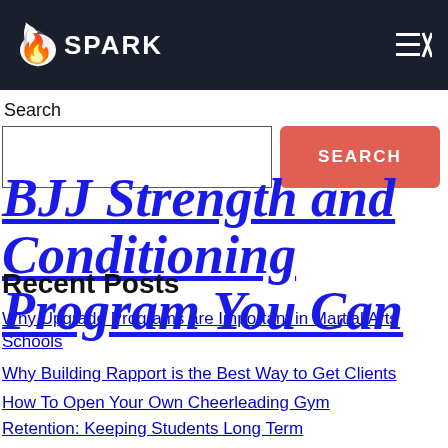SPARK
Search
BJJ Strength and Conditioning Program You Can
Recent Posts
Why Upgrade Programs are Important in Martial Arts Schools
Why Building Rapport is the Best Way to Get Clients
How To Open Your Own Cheerleading Gym
Retention: Keeping Students Long Term
How to Inspire More People to Try Martial Arts